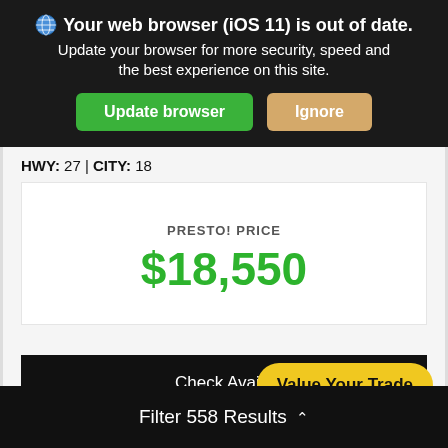Your web browser (iOS 11) is out of date. Update your browser for more security, speed and the best experience on this site. Update browser | Ignore
HWY: 27 | CITY: 18
PRESTO! PRICE
$18,550
Check Availability
Value Your Trade
Filter 558 Results ^